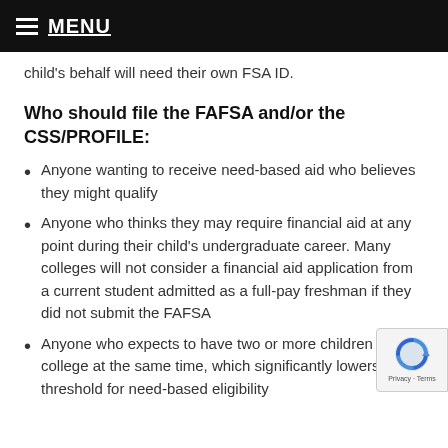MENU
child's behalf will need their own FSA ID.
Who should file the FAFSA and/or the CSS/PROFILE:
Anyone wanting to receive need-based aid who believes they might qualify
Anyone who thinks they may require financial aid at any point during their child's undergraduate career. Many colleges will not consider a financial aid application from a current student admitted as a full-pay freshman if they did not submit the FAFSA
Anyone who expects to have two or more children in college at the same time, which significantly lowers the threshold for need-based eligibility